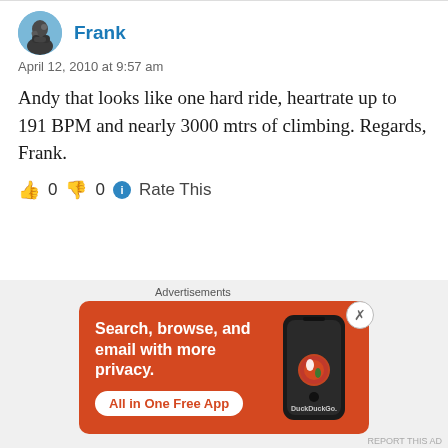Frank
April 12, 2010 at 9:57 am
Andy that looks like one hard ride, heartrate up to 191 BPM and nearly 3000 mtrs of climbing. Regards, Frank.
👍 0 👎 0 ℹ Rate This
Advertisements
[Figure (other): DuckDuckGo advertisement banner: Search, browse, and email with more privacy. All in One Free App. Shows a smartphone with the DuckDuckGo logo.]